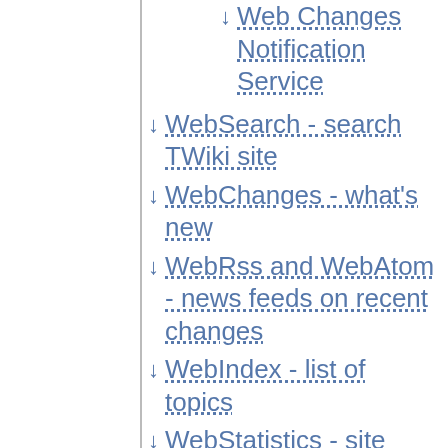Web Changes Notification Service
WebSearch - search TWiki site
WebChanges - what's new
WebRss and WebAtom - news feeds on recent changes
WebIndex - list of topics
WebStatistics - site statistics
Configuring for automatic operation
Generating statistics manually by URL
The maximum number of items in columns
Affiliation breakdown of views, saves, and uploads
Excluding some webs from WebStatistics update
Preventing WebStatistics and